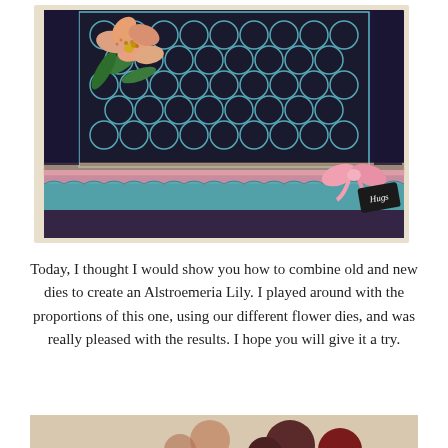[Figure (photo): A handmade greeting card featuring a black background with a blue geometric lattice pattern, a pink ribbon across the middle with a pink bow and a dark tag reading 'Hugs', a teal scalloped border strip with floral pattern at the bottom, and a yellow and pink Alstroemeria lily flower with green leaves at the upper left corner. The card is mounted on a cream/beige base.]
Today, I thought I would show you how to combine old and new dies to create an Alstroemeria Lily. I played around with the proportions of this one, using our different flower dies, and was really pleased with the results. I hope you will give it a try.
[Figure (photo): Partial view of craft materials or flower dies on a light surface, bottom portion of the page.]